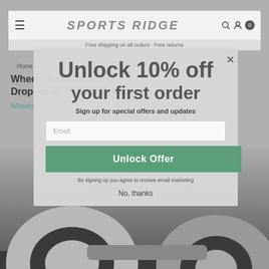SPORTS RIDGE
Free shipping on all orders · Free returns
Home / Outdoor Recreation
Wheels Manufacturing Dropout-59 Derailleur Hanger
Wheels Manufacturing
Unlock 10% off your first order
Sign up for special offers and updates
Email
Unlock Offer
By signing up you agree to receive email marketing
No, thanks